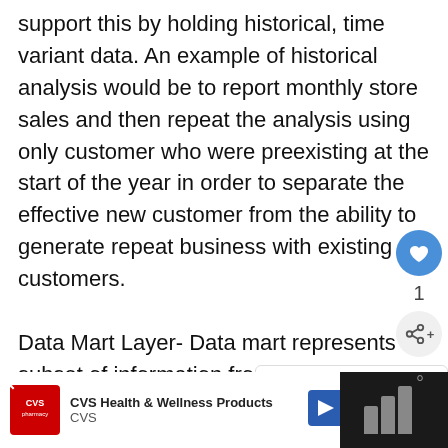support this by holding historical, time variant data. An example of historical analysis would be to report monthly store sales and then repeat the analysis using only customer who were preexisting at the start of the year in order to separate the effective new customer from the ability to generate repeat business with existing customers. Data Mart Layer- Data mart represents subset of information from the core DW selected and organized to meet the needs of a particular business unit or business line. Data mart can be relational databases or some form on-line analytical processing (OLAP) data structures. Data Staging and quality layer -This layer is responsible for extracting data and bringing it into DW and this layer...